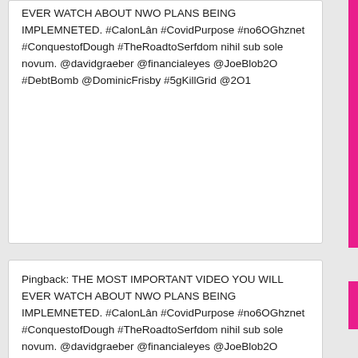EVER WATCH ABOUT NWO PLANS BEING IMPLEMNETED. #CalonLân #CovidPurpose #no6OGhznet #ConquestofDough #TheRoadtoSerfdom nihil sub sole novum. @davidgraeber @financialeyes @JoeBlob2O #DebtBomb @DominicFrisby #5gKillGrid @2O1
Pingback: THE MOST IMPORTANT VIDEO YOU WILL EVER WATCH ABOUT NWO PLANS BEING IMPLEMNETED. #CalonLân #CovidPurpose #no6OGhznet #ConquestofDough #TheRoadtoSerfdom nihil sub sole novum. @davidgraeber @financialeyes @JoeBlob2O #DebtBomb @DominicFrisby #5gKillGrid @2O1
Pingback: THE MOST IMPORTANT VIDEO YOU WILL EVER WATCH ABOUT NWO PLANS BEING IMPLEMNETED. #CalonLân #CovidPurpose #no6OGhznet #ConquestofDough #TheRoadtoSerfdom nihil sub sole novum. @davidgraeber @financialeyes